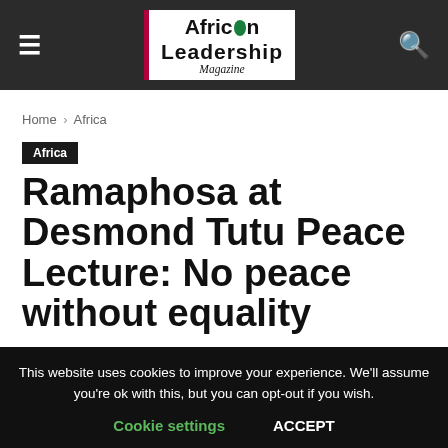African Leadership Magazine
Home › Africa
Africa
Ramaphosa at Desmond Tutu Peace Lecture: No peace without equality
By Akin Alabi - Contributor – 09/10/2018
This website uses cookies to improve your experience. We'll assume you're ok with this, but you can opt-out if you wish. Cookie settings ACCEPT